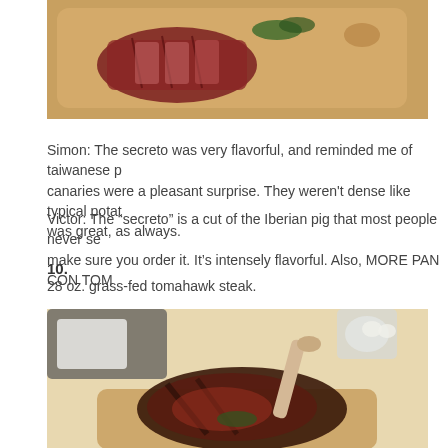[Figure (photo): Sliced secreto iberian pork served on a wooden cutting board with herbs, showing pink interior.]
Simon: The secreto was very flavorful, and reminded me of taiwanese p... canaries were a pleasant surprise. They weren't dense like typical potat... was great, as always.
Victor: The “secreto” is a cut of the Iberian pig that most people never se... make sure you order it. It’s intensely flavorful. Also, MORE PAN CON TOM...
10.
28 oz. grass-fed tomahawk steak.
[Figure (photo): Large tomahawk steak with bone, heavily charred exterior, served on a wooden board with herbs and condiments in background.]